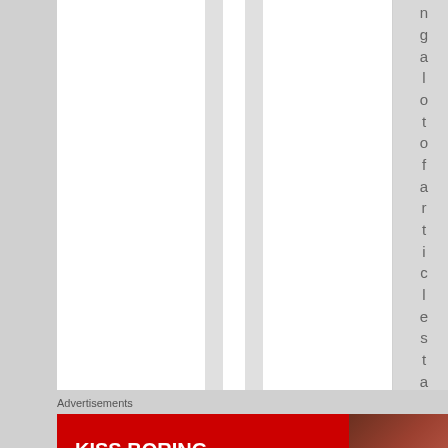[Figure (screenshot): Web page layout with white content columns, a gray divider column, and a highlighted gray column on the right containing vertical text reading 'ngalotofarticles ta' (letters stacked vertically one per line)]
Advertisements
[Figure (photo): Advertisement banner for Macy's with red background, text 'KISS BORING LIPS GOODBYE', a photo of a woman's face with red lips, a 'SHOP NOW' button, and the Macy's star logo]